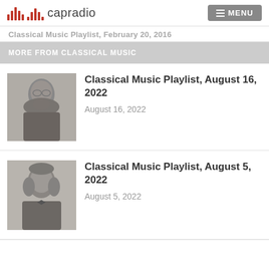capradio MENU
Classical Music Playlist, February 20, 2016
MORE FROM CLASSICAL MUSIC
[Figure (photo): Black and white portrait photograph of a 19th century man with glasses and a beard, formal attire]
Classical Music Playlist, August 16, 2022
August 16, 2022
[Figure (photo): Black and white portrait photograph of a 19th century man with long sideburns, formal attire with bow tie]
Classical Music Playlist, August 5, 2022
August 5, 2022